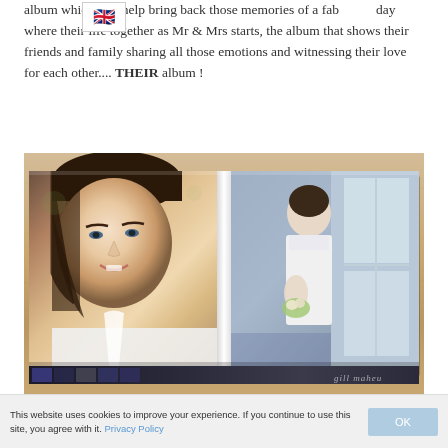album which will help bring back those memories of a fabulous day where their life together as Mr & Mrs starts, the album that shows their friends and family sharing all those emotions and witnessing their love for each other.... THEIR album !
[Figure (photo): Open wedding photo album lying on a light wood table, showing two pages: left page has a close-up portrait of smiling bride with dark hair and blue eyes wearing a white dress; right page shows full-length view of bride in white wedding dress holding flowers near a window. The album appears to have additional photos in a strip at the bottom. Watermark 'gill maheu' visible in bottom right corner.]
This website uses cookies to improve your experience. If you continue to use this site, you agree with it. Privacy Policy